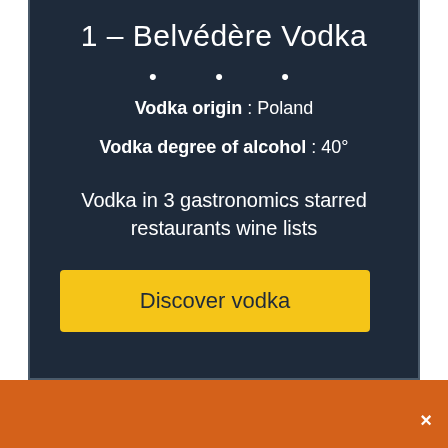1 – Belvédère Vodka
• • •
Vodka origin : Poland
Vodka degree of alcohol : 40°
Vodka in 3 gastronomics starred restaurants wine lists
Discover vodka